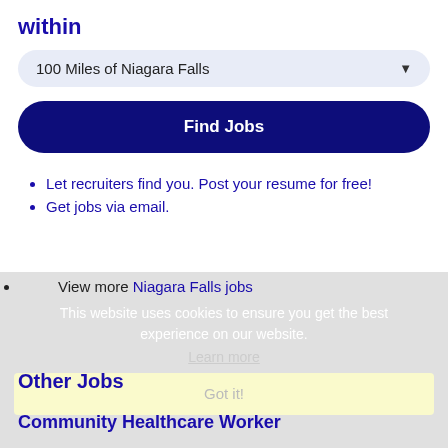within
100 Miles of Niagara Falls
Find Jobs
Let recruiters find you. Post your resume for free!
Get jobs via email.
View more Niagara Falls jobs
This website uses cookies to ensure you get the best experience on our website.
Learn more
Got it!
Other Jobs
Community Healthcare Worker